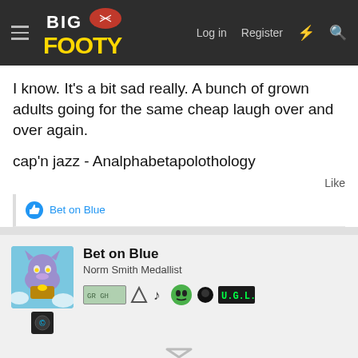BigFooty - Log in | Register
I know. It's a bit sad really. A bunch of grown adults going for the same cheap laugh over and over again.

cap'n jazz - Analphabetapolothology
Like
Bet on Blue
Bet on Blue
Norm Smith Medallist
[Figure (screenshot): Ad banner: Top Junior Gold Mining Stock]
Top Junior Gold Mining Stock